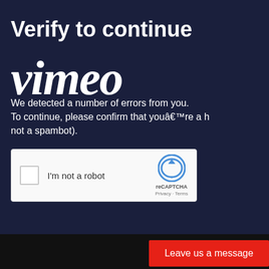Verify to continue
[Figure (logo): Vimeo logo in large white italic bold text overlaid on dark navy background]
We detected a number of errors from your connection. To continue, please confirm that youâ€™re a human (and not a spambot).
[Figure (other): reCAPTCHA widget with checkbox labeled 'I'm not a robot' and reCAPTCHA logo with Privacy and Terms links]
Leave us a message